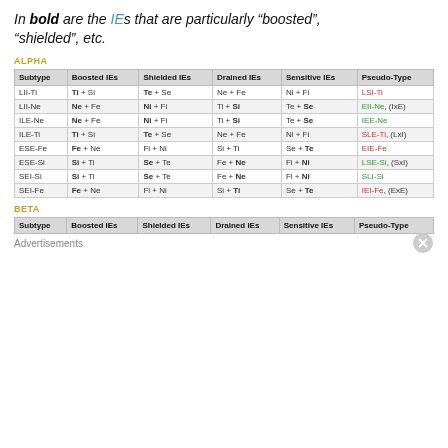In bold are the IEs that are particularly “boosted”, “shielded”, etc.
ALPHA
| Subtype | Boosted IEs | Shielded IEs | Drained IEs | Sensitive IEs | Pseudo-Type |
| --- | --- | --- | --- | --- | --- |
| LII-Ti | Ti + Si | Te + Se | Ne + Fe | Ni + Fi | LSI-Ti |
| LII-Ne | Ne + Fe | Ni + Fi | Ti + Si | Te + Se | EII-Ne, (IxE) |
| ILE-Ne | Ne + Fe | Ni + Fi | Ti + Si | Te + Se | IEE-Ne |
| ILE-Ti | Ti + Si | Te + Se | Ne + Fe | Ni + Fi | SLE-Ti, (LxI) |
| ESE-Fe | Fe + Ne | Fi + Ni | Si + Ti | Se + Te | EIE-Fe |
| ESE-Si | Si + Ti | Se + Te | Fe + Ne | Fi + Ni | LSE-Si, (SxI) |
| SEI-Si | Si + Ti | Se + Te | Fe + Ne | Fi + Ni | SLI-Si |
| SEI-Fe | Fe + Ne | Fi + Ni | Si + Ti | Se + Te | IEI-Fe, (ExE) |
BETA
| Subtype | Boosted IEs | Shielded IEs | Drained IEs | Sensitive IEs | Pseudo-Type |
| --- | --- | --- | --- | --- | --- |
Advertisements